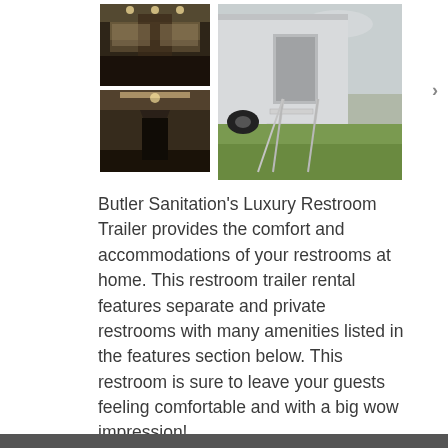[Figure (photo): Four photos: two stacked interior shots of a luxury restroom trailer (dark wood cabinetry, recessed lighting, corridor view) on the left, and one large exterior shot of the trailer's metal staircase on grass on the right.]
Butler Sanitation's Luxury Restroom Trailer provides the comfort and accommodations of your restrooms at home. This restroom trailer rental features separate and private restrooms with many amenities listed in the features section below. This restroom is sure to leave your guests feeling comfortable and with a big wow impression!